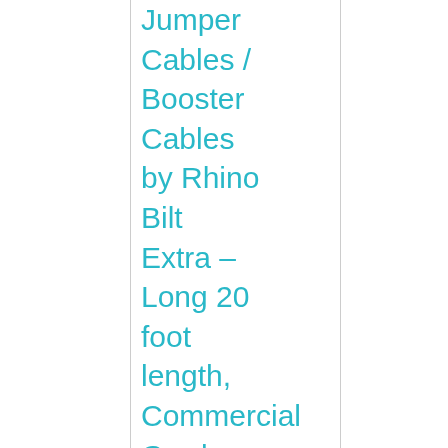[Figure (photo): Product image of jumper cables - red coiled cables with clamps]
Jumper Cables / Booster Cables by Rhino Bilt Extra – Long 20 foot length, Commercial Grade Quality EASILY JUMP
[Figure (other): Star rating: 4.5 out of 5 stars (4 full stars and 1 half star)]
Go to amazon